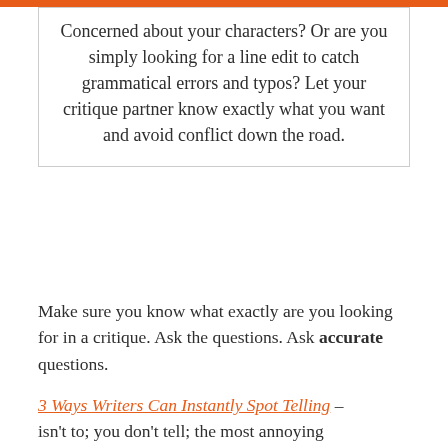Concerned about your characters? Or are you simply looking for a line edit to catch grammatical errors and typos? Let your critique partner know exactly what you want and avoid conflict down the road.
Make sure you know what exactly are you looking for in a critique. Ask the questions. Ask accurate questions.
3 Ways Writers Can Instantly Spot Telling – isn't to; you don't tell; the most annoying